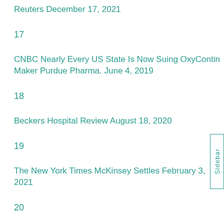Reuters December 17, 2021
17
CNBC Nearly Every US State Is Now Suing OxyContin Maker Purdue Pharma. June 4, 2019
18
Beckers Hospital Review August 18, 2020
19
The New York Times McKinsey Settles February 3, 2021
20